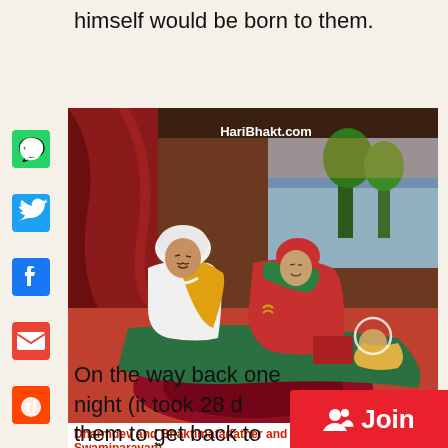himself would be born to them.
[Figure (illustration): Painting of Dharmdev and Bhaktimata (father and mother of Swaminarayan) with a child. Watermark: HariBhakt.com]
Dharmdev and Bhaktimata(father and mother of Swaminarayan)
On the way back one night (it took 28 d… them to get back to chapaiyaa village – the…